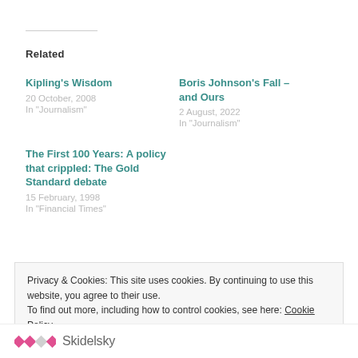Related
Kipling's Wisdom
20 October, 2008
In "Journalism"
Boris Johnson's Fall – and Ours
2 August, 2022
In "Journalism"
The First 100 Years: A policy that crippled: The Gold Standard debate
15 February, 1998
In "Financial Times"
Privacy & Cookies: This site uses cookies. By continuing to use this website, you agree to their use.
To find out more, including how to control cookies, see here: Cookie Policy
Close and accept
[Figure (logo): Skidelsky logo with pink diamond pattern and text]